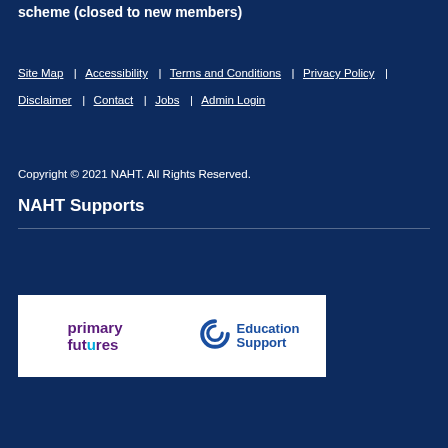scheme (closed to new members)
Site Map | Accessibility | Terms and Conditions | Privacy Policy | Disclaimer | Contact | Jobs | Admin Login
Copyright © 2021 NAHT. All Rights Reserved.
NAHT Supports
[Figure (logo): Primary Futures logo - stylized text with purple and cyan colors]
[Figure (logo): Education Support logo with blue circular icon and blue text]